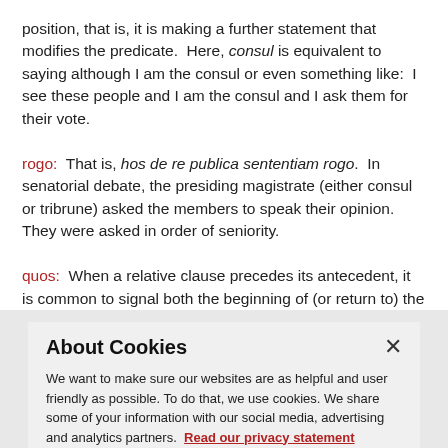position, that is, it is making a further statement that modifies the predicate.  Here, consul is equivalent to saying although I am the consul or even something like:  I see these people and I am the consul and I ask them for their vote.
rogo:  That is, hos de re publica sententiam rogo.  In senatorial debate, the presiding magistrate (either consul or tribrune) asked the members to speak their opinion.  They were asked in order of seniority.
quos:  When a relative clause precedes its antecedent, it is common to signal both the beginning of (or return to) the
About Cookies
We want to make sure our websites are as helpful and user friendly as possible. To do that, we use cookies. We share some of your information with our social media, advertising and analytics partners.  Read our privacy statement